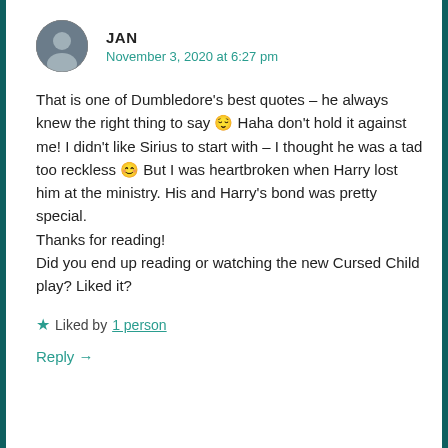[Figure (photo): Circular avatar photo of a person wearing glasses]
JAN
November 3, 2020 at 6:27 pm
That is one of Dumbledore's best quotes – he always knew the right thing to say 😌 Haha don't hold it against me! I didn't like Sirius to start with – I thought he was a tad too reckless 😊 But I was heartbroken when Harry lost him at the ministry. His and Harry's bond was pretty special.
Thanks for reading!
Did you end up reading or watching the new Cursed Child play? Liked it?
★ Liked by 1 person
Reply →